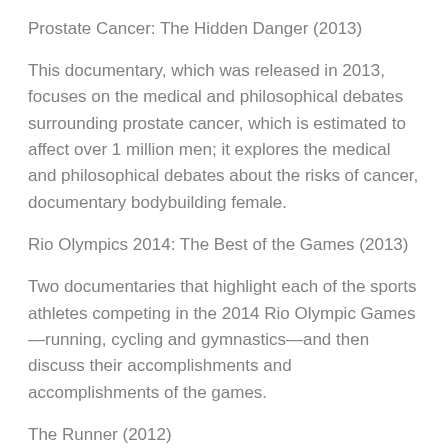Prostate Cancer: The Hidden Danger (2013)
This documentary, which was released in 2013, focuses on the medical and philosophical debates surrounding prostate cancer, which is estimated to affect over 1 million men; it explores the medical and philosophical debates about the risks of cancer, documentary bodybuilding female.
Rio Olympics 2014: The Best of the Games (2013)
Two documentaries that highlight each of the sports athletes competing in the 2014 Rio Olympic Games—running, cycling and gymnastics—and then discuss their accomplishments and accomplishments of the games.
The Runner (2012)